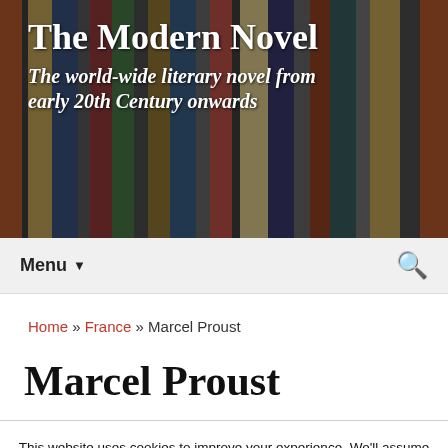[Figure (photo): Website header banner showing book spines on a shelf with overlay text 'The Modern Novel' and subtitle 'The world-wide literary novel from early 20th Century onwards']
Menu ▼  🔍
Home » France » Marcel Proust
Marcel Proust
This website uses cookies to improve your experience. We'll assume you're ok with this, but you can opt-out if you wish.  Accept  Reject  Read More